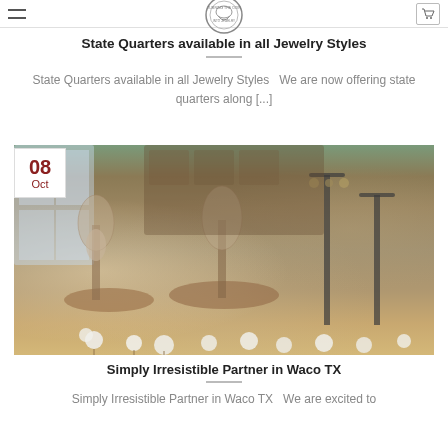Navigation bar with hamburger menu, logo, and cart icon
State Quarters available in all Jewelry Styles
State Quarters available in all Jewelry Styles  We are now offering state quarters along [...]
[Figure (photo): Interior of a jewelry store showing multiple display stands with necklaces, bracelets, and other jewelry items on a wooden countertop. Cotton flowers in the foreground, rustic wooden decor in background.]
Simply Irresistible Partner in Waco TX
Simply Irresistible Partner in Waco TX  We are excited to